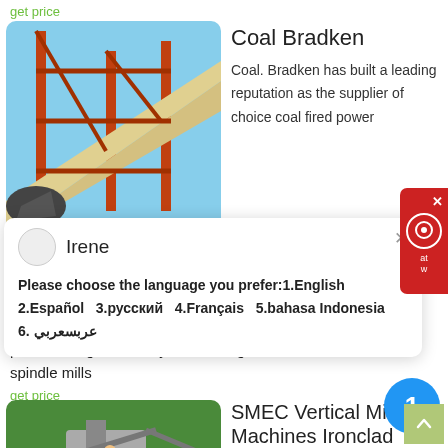get price
Coal Bradken
[Figure (photo): Industrial coal conveyor belt structure with orange metal framework against a blue sky]
Coal. Bradken has built a leading reputation as the supplier of choice coal fired power
Irene
Please choose the language you prefer:1.English  2.Español  3.русский  4.Français  5.bahasa Indonesia  6. عربسعربي
product range covers tyres and segments for vertical spindle mills
get price
SMEC Vertical Milling Machines Ironclad Machinery
[Figure (photo): Industrial milling machines outdoors on a muddy site with green trees in background]